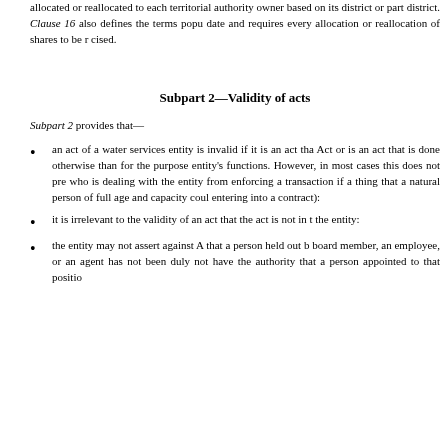allocated or reallocated to each territorial authority owner based on its district or part district. Clause 16 also defines the terms population date and requires every allocation or reallocation of shares to be recognised. cised.
Subpart 2—Validity of acts
Subpart 2 provides that—
an act of a water services entity is invalid if it is an act that Act or is an act that is done otherwise than for the purpose entity's functions. However, in most cases this does not prevent who is dealing with the entity from enforcing a transaction if a thing that a natural person of full age and capacity could entering into a contract):
it is irrelevant to the validity of an act that the act is not in the entity:
the entity may not assert against A that a person held out by board member, an employee, or an agent has not been duly not have the authority that a person appointed to that position